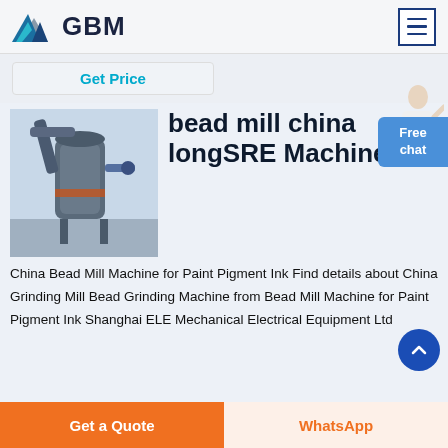[Figure (logo): GBM logo with blue/grey mountain graphic and bold GBM text]
[Figure (screenshot): Hamburger menu icon with three horizontal lines in a bordered box]
Get Price
bead mill china longSRE Machineries
[Figure (photo): Industrial bead mill machine with pipes and tanks]
China Bead Mill Machine for Paint Pigment Ink Find details about China Grinding Mill Bead Grinding Machine from Bead Mill Machine for Paint Pigment Ink Shanghai ELE Mechanical Electrical Equipment Ltd
Get a Quote
WhatsApp